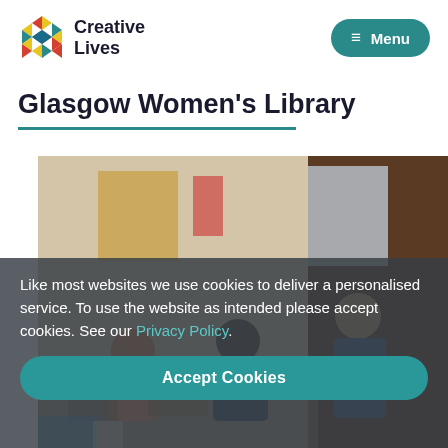Creative Lives | Menu
Glasgow Women's Library
[Figure (photo): Photo of people gathered around a table in a library/workshop setting, looking at artwork or materials]
Like most websites we use cookies to deliver a personalised service. To use the website as intended please accept cookies. See our Privacy Policy.
Accept Cookies